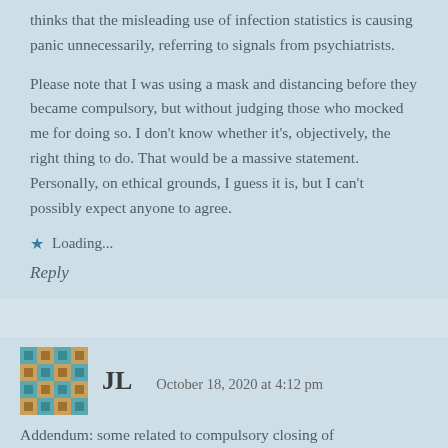thinks that the misleading use of infection statistics is causing panic unnecessarily, referring to signals from psychiatrists.
Please note that I was using a mask and distancing before they became compulsory, but without judging those who mocked me for doing so. I don't know whether it's, objectively, the right thing to do. That would be a massive statement. Personally, on ethical grounds, I guess it is, but I can't possibly expect anyone to agree.
Loading...
Reply
JL   October 18, 2020 at 4:12 pm
Addendum: some related to compulsory closing of